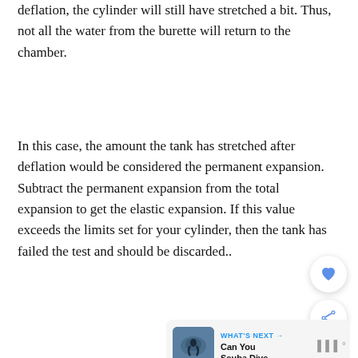deflation, the cylinder will still have stretched a bit. Thus, not all the water from the burette will return to the chamber.
In this case, the amount the tank has stretched after deflation would be considered the permanent expansion. Subtract the permanent expansion from the total expansion to get the elastic expansion. If this value exceeds the limits set for your cylinder, then the tank has failed the test and should be discarded..
[Figure (other): UI overlay: heart/like button (circular white button with heart icon), share button (circular white button with share icon), 'What's Next' card showing a scuba diving image thumbnail with text 'WHAT'S NEXT → Can You Scuba Dive...' and a logo at bottom right.]